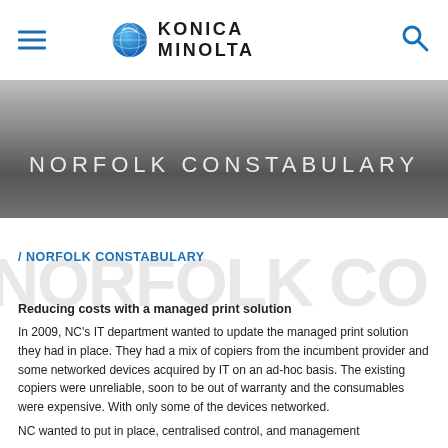KONICA MINOLTA
NORFOLK CONSTABULARY
/ NORFOLK CONSTABULARY
Reducing costs with a managed print solution
In 2009, NC's IT department wanted to update the managed print solution they had in place. They had a mix of copiers from the incumbent provider and some networked devices acquired by IT on an ad-hoc basis. The existing copiers were unreliable, soon to be out of warranty and the consumables were expensive. With only some of the devices networked.
NC wanted to put in place, centralised control, and management